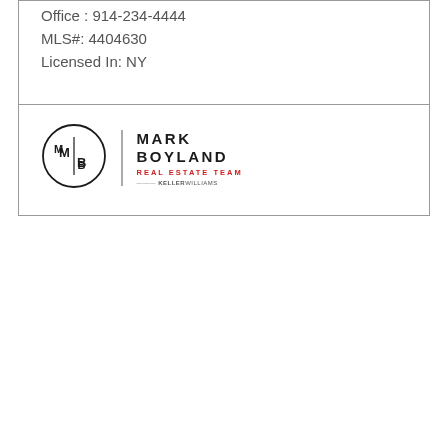Office : 914-234-4444
MLS#: 4404630
Licensed In: NY
[Figure (logo): Mark Boyland Real Estate Team - Keller Williams logo with circular MB monogram]